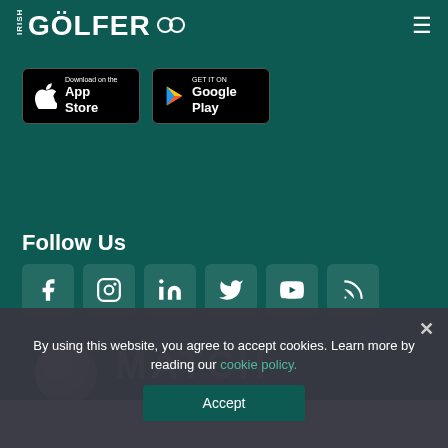IRISH GOLFER
[Figure (screenshot): App Store and Google Play download buttons]
Follow Us
[Figure (infographic): Social media icons: Facebook, Instagram, LinkedIn, Twitter, YouTube, RSS]
[Figure (other): MATCH banner with circular logo placeholder]
By using this website, you agree to accept cookies. Learn more by reading our cookie policy.
Accept